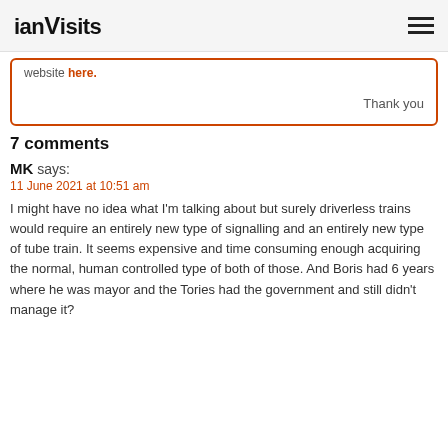ianVisits
website here.
Thank you
7 comments
MK says:
11 June 2021 at 10:51 am
I might have no idea what I'm talking about but surely driverless trains would require an entirely new type of signalling and an entirely new type of tube train. It seems expensive and time consuming enough acquiring the normal, human controlled type of both of those. And Boris had 6 years where he was mayor and the Tories had the government and still didn't manage it?